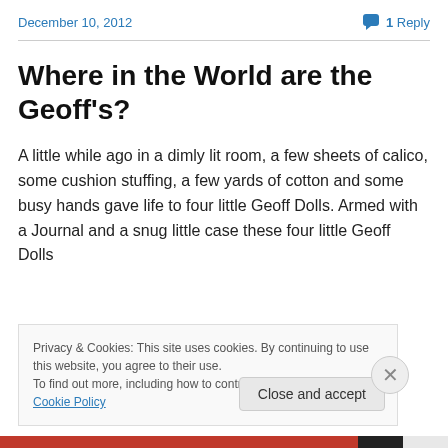December 10, 2012    💬 1 Reply
Where in the World are the Geoff's?
A little while ago in a dimly lit room, a few sheets of calico, some cushion stuffing, a few yards of cotton and some busy hands gave life to four little Geoff Dolls. Armed with a Journal and a snug little case these four little Geoff Dolls
Privacy & Cookies: This site uses cookies. By continuing to use this website, you agree to their use.
To find out more, including how to control cookies, see here: Cookie Policy
Close and accept